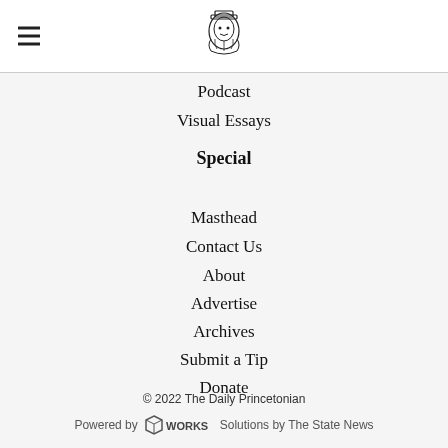[Figure (logo): Daily Princetonian mascot logo - illustrated figure at top center]
Podcast
Visual Essays
Special
Masthead
Contact Us
About
Advertise
Archives
Submit a Tip
Donate
Privacy
Terms
© 2022 The Daily Princetonian
Powered by SNWorks Solutions by The State News